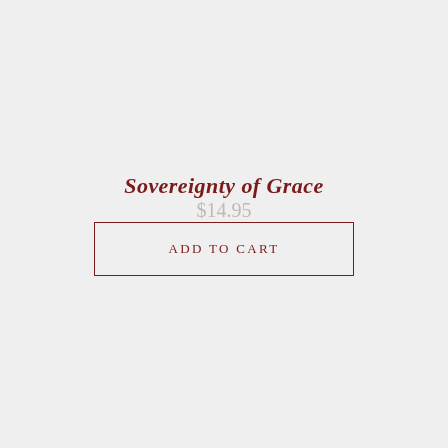Sovereignty of Grace
$14.95
ADD TO CART